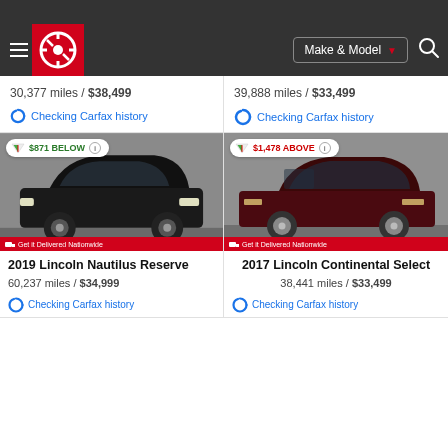[Figure (screenshot): Edmunds car listing mobile app screenshot showing navigation bar with logo, Make & Model filter, and search icon]
30,377 miles / $38,499
39,888 miles / $33,499
Checking Carfax history
Checking Carfax history
[Figure (photo): 2019 Lincoln Nautilus Reserve black SUV with $871 BELOW market badge]
[Figure (photo): 2017 Lincoln Continental Select dark red sedan with $1,478 ABOVE market badge]
2019 Lincoln Nautilus Reserve
60,237 miles / $34,999
Checking Carfax history
2017 Lincoln Continental Select
38,441 miles / $33,499
Checking Carfax history